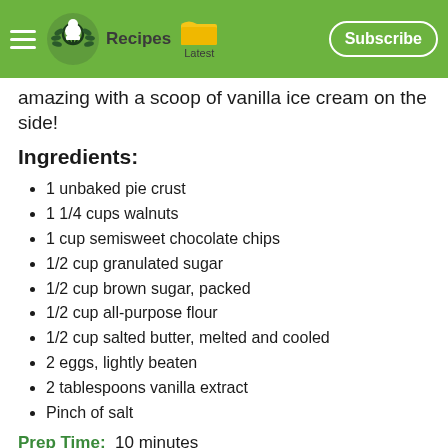Recipes  Latest  Subscribe
amazing with a scoop of vanilla ice cream on the side!
Ingredients:
1 unbaked pie crust
1 1/4 cups walnuts
1 cup semisweet chocolate chips
1/2 cup granulated sugar
1/2 cup brown sugar, packed
1/2 cup all-purpose flour
1/2 cup salted butter, melted and cooled
2 eggs, lightly beaten
2 tablespoons vanilla extract
Pinch of salt
Prep Time:  10 minutes
Cook Time:  50 minutes